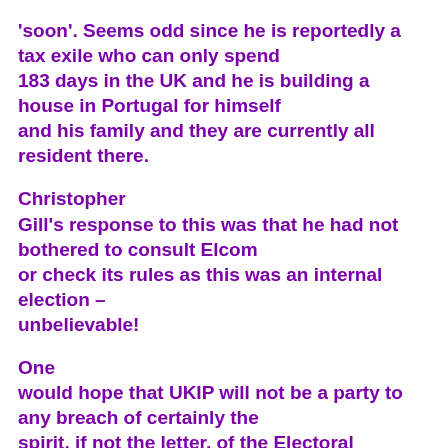'soon'. Seems odd since he is reportedly a tax exile who can only spend 183 days in the UK and he is building a house in Portugal for himself and his family and they are currently all resident there.
Christopher Gill's response to this was that he had not bothered to consult Elcom or check its rules as this was an internal election – unbelievable!
One would hope that UKIP will not be a party to any breach of certainly the spirit, if not the letter, of the Electoral Commission